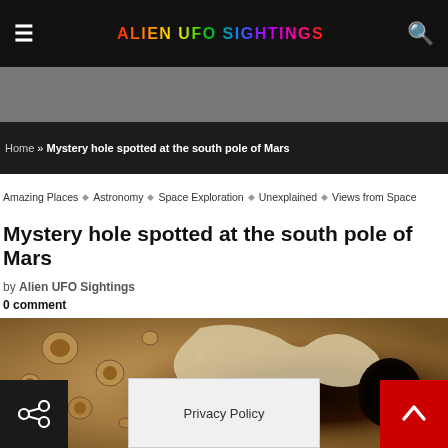ALIEN UFO SIGHTINGS
Home » Mystery hole spotted at the south pole of Mars
Amazing Places ◇ Astronomy ◇ Space Exploration ◇ Unexplained ◇ Views from Space
Mystery hole spotted at the south pole of Mars
by Alien UFO Sightings
0 comment
[Figure (photo): Aerial or satellite image of the south pole of Mars showing craters and a dark mysterious hole on a reddish-brown surface]
Privacy Policy